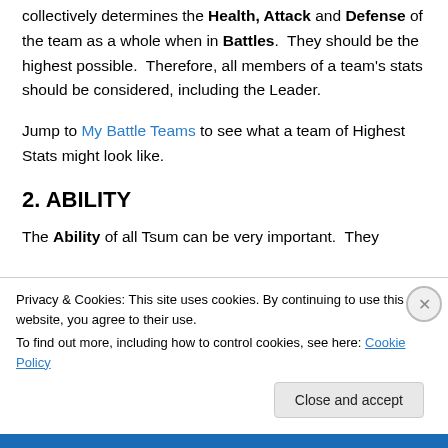collectively determines the Health, Attack and Defense of the team as a whole when in Battles. They should be the highest possible. Therefore, all members of a team's stats should be considered, including the Leader.
Jump to My Battle Teams to see what a team of Highest Stats might look like.
2. ABILITY
The Ability of all Tsum can be very important. They
Privacy & Cookies: This site uses cookies. By continuing to use this website, you agree to their use.
To find out more, including how to control cookies, see here: Cookie Policy